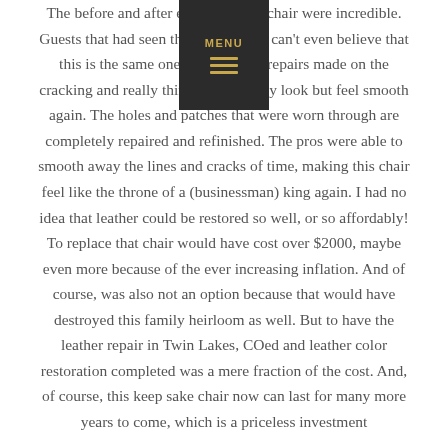The before and after effects on this chair were incredible. Guests that had seen the chair before can't even believe that this is the same one. The Leather repairs made on the cracking and really thin areas not only look but feel smooth again. The holes and patches that were worn through are completely repaired and refinished. The pros were able to smooth away the lines and cracks of time, making this chair feel like the throne of a (businessman) king again. I had no idea that leather could be restored so well, or so affordably! To replace that chair would have cost over $2000, maybe even more because of the ever increasing inflation. And of course, was also not an option because that would have destroyed this family heirloom as well. But to have the leather repair in Twin Lakes, COed and leather color restoration completed was a mere fraction of the cost. And, of course, this keep sake chair now can last for many more years to come, which is a priceless investment